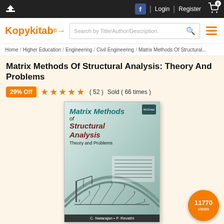Kopykitab | Login | Register | Cart
Home / Higher Education / Engineering / Civil Engineering / Matrix Methods Of Structural...
Matrix Methods Of Structural Analysis: Theory And Problems
29% Off  ★★★★★  ( 52 )  Sold ( 66 times )
[Figure (photo): Book cover of Matrix Methods of Structural Analysis: Theory and Problems by C. Natarajan and P. Revathi, showing bridge and structural diagrams]
11770 views